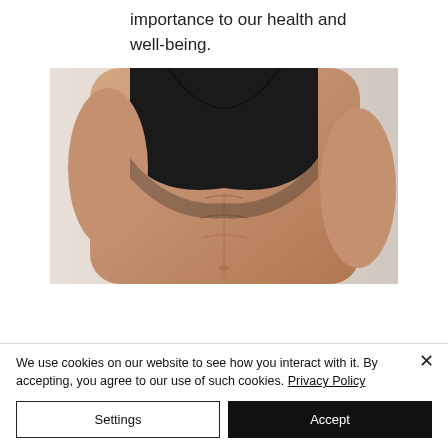importance to our health and well-being.
[Figure (photo): Cropped photo of a fit person's torso wearing a black sports bra, showing defined abdominal muscles against a light background]
We use cookies on our website to see how you interact with it. By accepting, you agree to our use of such cookies. Privacy Policy
Settings
Accept